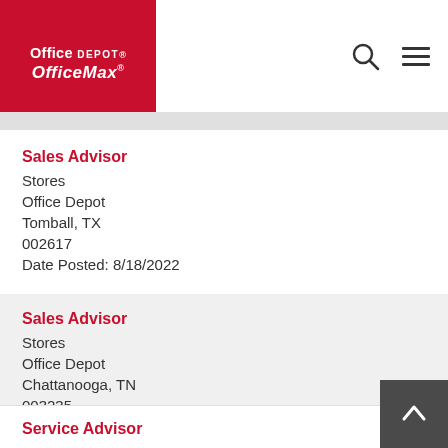[Figure (logo): Office Depot OfficeMax logo — white text on red background]
Sales Advisor
Stores
Office Depot
Tomball, TX
002617
Date Posted: 8/18/2022
Sales Advisor
Stores
Office Depot
Chattanooga, TN
003235
Date Posted: 8/18/2022
Service Advisor